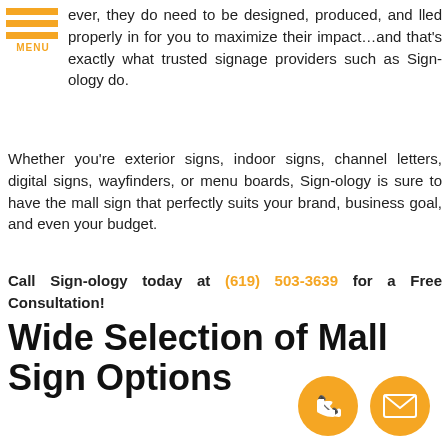[Figure (other): Orange hamburger menu icon with three horizontal bars and MENU label]
ever, they do need to be designed, produced, and lled properly in for you to maximize their impact…and that's exactly what trusted signage providers such as Sign-ology do.
Whether you're exterior signs, indoor signs, channel letters, digital signs, wayfinders, or menu boards, Sign-ology is sure to have the mall sign that perfectly suits your brand, business goal, and even your budget.
Call Sign-ology today at (619) 503-3639 for a Free Consultation!
Wide Selection of Mall Sign Options
[Figure (illustration): Orange circular phone icon button]
[Figure (illustration): Orange circular email/envelope icon button]